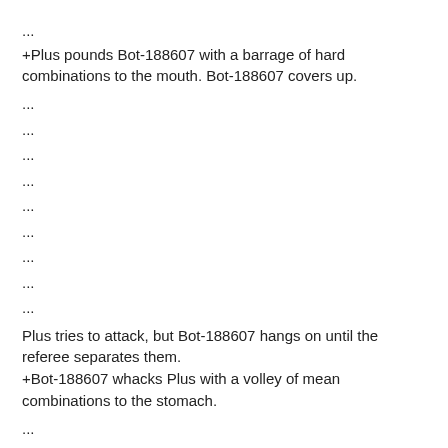...
+Plus pounds Bot-188607 with a barrage of hard combinations to the mouth. Bot-188607 covers up.
...
...
...
...
...
...
...
...
...
Plus tries to attack, but Bot-188607 hangs on until the referee separates them.
+Bot-188607 whacks Plus with a volley of mean combinations to the stomach.
...
...